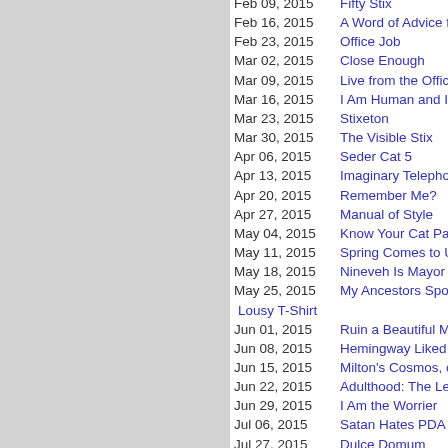Feb 09, 2015 | Fifty Stix
Feb 16, 2015 | A Word of Advice fro...
Feb 23, 2015 | Office Job
Mar 02, 2015 | Close Enough
Mar 09, 2015 | Live from the Office
Mar 16, 2015 | I Am Human and I Kr...
Mar 23, 2015 | Stixeton
Mar 30, 2015 | The Visible Stix
Apr 06, 2015 | Seder Cat 5
Apr 13, 2015 | Imaginary Telephone
Apr 20, 2015 | Remember Me?
Apr 27, 2015 | Manual of Style
May 04, 2015 | Know Your Cat Pastr...
May 11, 2015 | Spring Comes to Upp...
May 18, 2015 | Nineveh Is Mayor of...
May 25, 2015 | My Ancestors Spoke... Lousy T-Shirt
Jun 01, 2015 | Ruin a Beautiful Mom...
Jun 08, 2015 | Hemingway Liked Ca...
Jun 15, 2015 | Milton's Cosmos, or S...
Jun 22, 2015 | Adulthood: The Lege...
Jun 29, 2015 | I Am the Worrier
Jul 06, 2015 | Satan Hates PDA
Jul 27, 2015 | Dulce Domum
Aug 03, 2015 | Catgrass Delusion